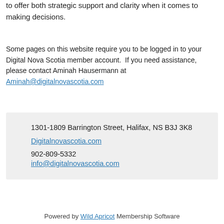to offer both strategic support and clarity when it comes to making decisions.
Some pages on this website require you to be logged in to your Digital Nova Scotia member account. If you need assistance, please contact Aminah Hausermann at Aminah@digitalnovascotia.com
1301-1809 Barrington Street, Halifax, NS B3J 3K8
Digitalnovascotia.com
902-809-5332
info@digitalnovascotia.com
Powered by Wild Apricot Membership Software